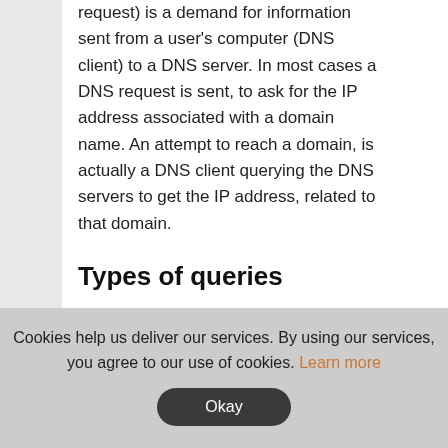request) is a demand for information sent from a user's computer (DNS client) to a DNS server. In most cases a DNS request is sent, to ask for the IP address associated with a domain name. An attempt to reach a domain, is actually a DNS client querying the DNS servers to get the IP address, related to that domain.
Types of queries
Cookies help us deliver our services. By using our services, you agree to our use of cookies. Learn more